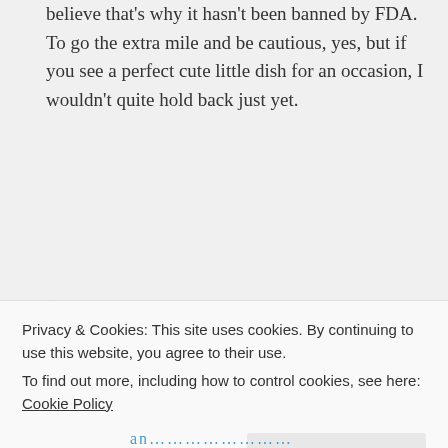believe that's why it hasn't been banned by FDA. To go the extra mile and be cautious, yes, but if you see a perfect cute little dish for an occasion, I wouldn't quite hold back just yet.
★ Liked by 1 person
ela on December 30, 2013 at 9:59 am
Privacy & Cookies: This site uses cookies. By continuing to use this website, you agree to their use. To find out more, including how to control cookies, see here: Cookie Policy
Close and accept